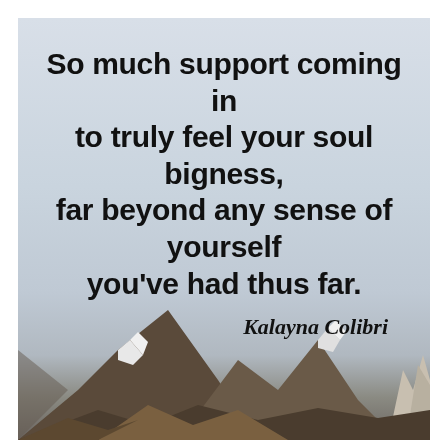[Figure (photo): A motivational quote image with a light blue-grey sky background and snow-capped mountain peaks visible at the bottom. Bold black text overlays the sky portion with a quote by Kalayna Colibri.]
So much support coming in to truly feel your soul bigness, far beyond any sense of yourself you've had thus far.
Kalayna Colibri